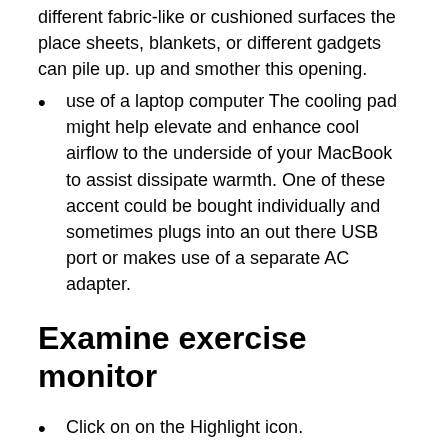different fabric-like or cushioned surfaces the place sheets, blankets, or different gadgets can pile up. up and smother this opening.
use of a laptop computer The cooling pad might help elevate and enhance cool airflow to the underside of your MacBook to assist dissipate warmth. One of these accent could be bought individually and sometimes plugs into an out there USB port or makes use of a separate AC adapter.
Examine exercise monitor
Click on on the Highlight icon.
Kind Exercise Monitor within the search bar.
Click on Exercise Monitor within the checklist.
Click on on the title bar on the prime known as %CPU. A small arrow will seem and it ought to